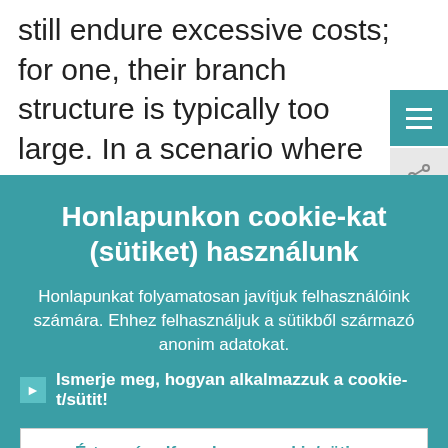still endure excessive costs; for one, their branch structure is typically too large. In a scenario where remote access has becon the norm, banks that had previously
Honlapunkon cookie-kat (sütiket) használunk
Honlapunkat folyamatosan javítjuk felhasználóink számára. Ehhez felhasználjuk a sütikből származó anonim adatokat.
Ismerje meg, hogyan alkalmazzuk a cookie-t/sütit!
Értem, és elfogadom a cookie/süti használatát
Visszautasítom a cookie/süti használatát